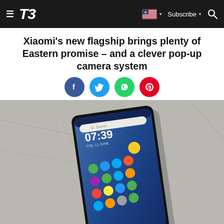T3 — Subscribe
Xiaomi's new flagship brings plenty of Eastern promise – and a clever pop-up camera system
[Figure (illustration): Social sharing buttons: Facebook (blue circle), Twitter (light blue circle), WhatsApp (green circle), Pinterest (red circle)]
[Figure (photo): A Xiaomi smartphone displayed face-up on a grey stone surface, showing the Android home screen with the time 07:39, a Google search bar, and a grid of app icons. The phone has minimal bezels and no notch.]